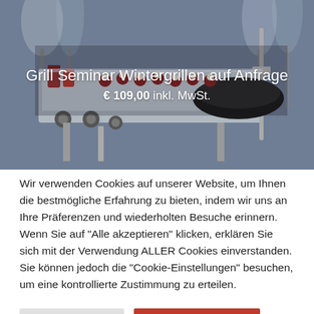[Figure (photo): A winter outdoor grill setup with food items on the grill surface, showing a gas grill with a wok pan, small desserts/appetizers on skewers, and winter trees in the background. Text overlay shows product title and price.]
Grill Seminar Wintergrillen auf Anfrage
€ 109,00 inkl. MwSt.
Wir verwenden Cookies auf unserer Website, um Ihnen die bestmögliche Erfahrung zu bieten, indem wir uns an Ihre Präferenzen und wiederholten Besuche erinnern. Wenn Sie auf "Alle akzeptieren" klicken, erklären Sie sich mit der Verwendung ALLER Cookies einverstanden. Sie können jedoch die "Cookie-Einstellungen" besuchen, um eine kontrollierte Zustimmung zu erteilen.
Cookie Settings
Alle akzeptieren